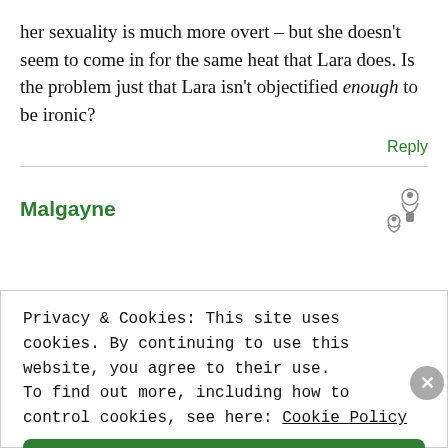her sexuality is much more overt – but she doesn't seem to come in for the same heat that Lara does. Is the problem just that Lara isn't objectified enough to be ironic?
Reply
Malgayne
Privacy & Cookies: This site uses cookies. By continuing to use this website, you agree to their use. To find out more, including how to control cookies, see here: Cookie Policy
Close and accept